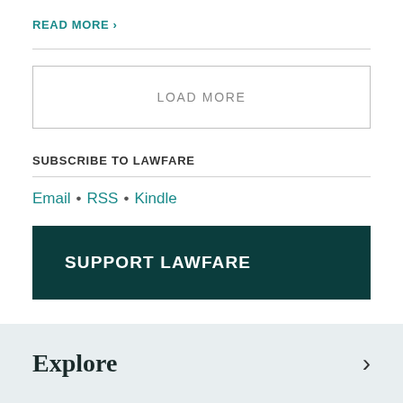READ MORE >
LOAD MORE
SUBSCRIBE TO LAWFARE
Email • RSS • Kindle
SUPPORT LAWFARE
Explore >